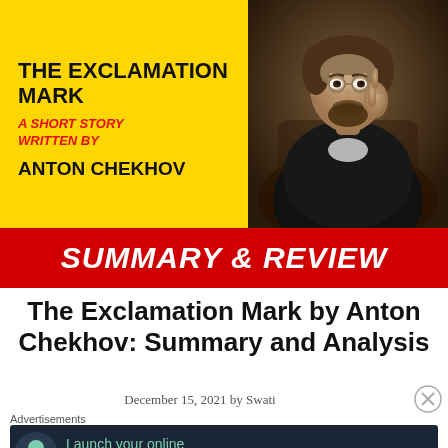[Figure (illustration): Book cover for 'The Exclamation Mark' by Anton Chekhov showing a yellow section with bold black title text and red italic subtitle, alongside a painted portrait of Anton Chekhov, with a red banner reading 'SUMMARY & REVIEW']
The Exclamation Mark by Anton Chekhov: Summary and Analysis
December 15, 2021 by Swati
Advertisements
Launch your online course with WordPress Learn More